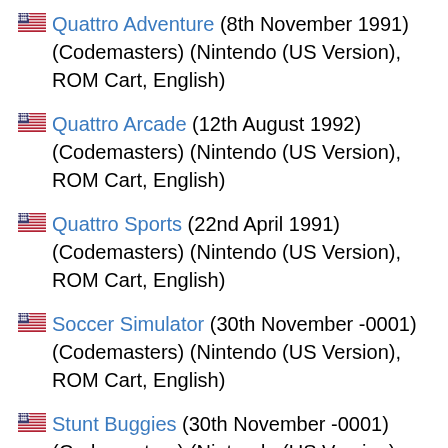🇺🇸 Quattro Adventure (8th November 1991) (Codemasters) (Nintendo (US Version), ROM Cart, English)
🇺🇸 Quattro Arcade (12th August 1992) (Codemasters) (Nintendo (US Version), ROM Cart, English)
🇺🇸 Quattro Sports (22nd April 1991) (Codemasters) (Nintendo (US Version), ROM Cart, English)
🇺🇸 Soccer Simulator (30th November -0001) (Codemasters) (Nintendo (US Version), ROM Cart, English)
🇺🇸 Stunt Buggies (30th November -0001) (Codemasters) (Nintendo (US Version), ROM Cart, English)
🇺🇸 Stunt Kids (30th November -0001) (Codemasters) (Nintendo (US Version), ROM Cart, English)